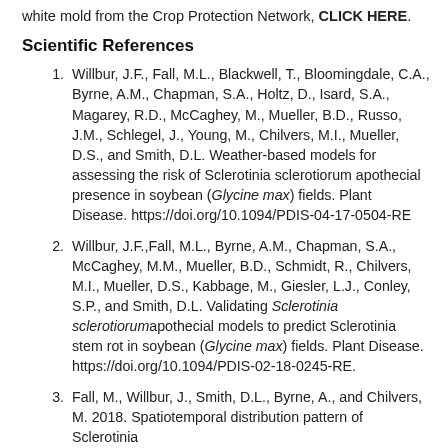white mold from the Crop Protection Network, CLICK HERE.
Scientific References
Willbur, J.F., Fall, M.L., Blackwell, T., Bloomingdale, C.A., Byrne, A.M., Chapman, S.A., Holtz, D., Isard, S.A., Magarey, R.D., McCaghey, M., Mueller, B.D., Russo, J.M., Schlegel, J., Young, M., Chilvers, M.I., Mueller, D.S., and Smith, D.L. Weather-based models for assessing the risk of Sclerotinia sclerotiorum apothecial presence in soybean (Glycine max) fields. Plant Disease. https://doi.org/10.1094/PDIS-04-17-0504-RE
Willbur, J.F.,Fall, M.L., Byrne, A.M., Chapman, S.A., McCaghey, M.M., Mueller, B.D., Schmidt, R., Chilvers, M.I., Mueller, D.S., Kabbage, M., Giesler, L.J., Conley, S.P., and Smith, D.L. Validating Sclerotinia sclerotiorum apothecial models to predict Sclerotinia stem rot in soybean (Glycine max) fields. Plant Disease. https://doi.org/10.1094/PDIS-02-18-0245-RE.
Fall, M., Willbur, J., Smith, D.L., Byrne, A., and Chilvers, M. 2018. Spatiotemporal distribution pattern of Sclerotinia